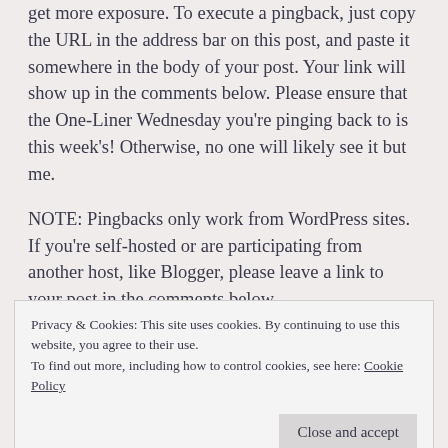get more exposure. To execute a pingback, just copy the URL in the address bar on this post, and paste it somewhere in the body of your post. Your link will show up in the comments below. Please ensure that the One-Liner Wednesday you're pinging back to is this week's! Otherwise, no one will likely see it but me.
NOTE: Pingbacks only work from WordPress sites. If you're self-hosted or are participating from another host, like Blogger, please leave a link to your post in the comments below.
As with Stream of Consciousness Saturday (SoCS), if
Privacy & Cookies: This site uses cookies. By continuing to use this website, you agree to their use.
To find out more, including how to control cookies, see here: Cookie Policy
stick to the same "theme."